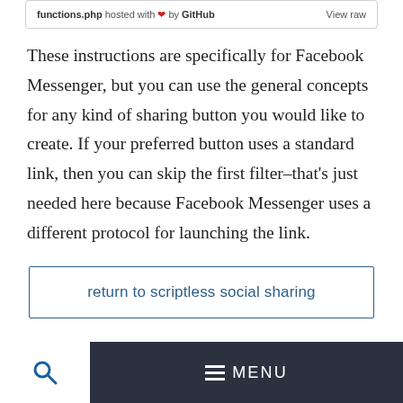functions.php hosted with ❤ by GitHub   View raw
These instructions are specifically for Facebook Messenger, but you can use the general concepts for any kind of sharing button you would like to create. If your preferred button uses a standard link, then you can skip the first filter–that's just needed here because Facebook Messenger uses a different protocol for launching the link.
return to scriptless social sharing
☰ MENU